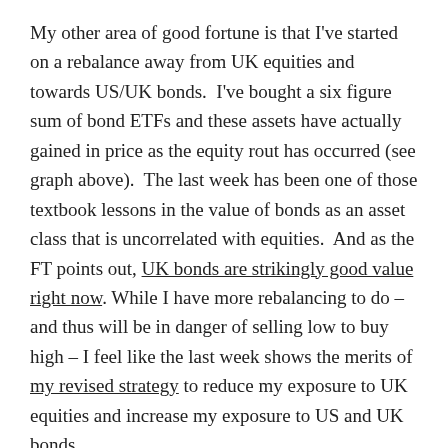My other area of good fortune is that I've started on a rebalance away from UK equities and towards US/UK bonds. I've bought a six figure sum of bond ETFs and these assets have actually gained in price as the equity rout has occurred (see graph above). The last week has been one of those textbook lessons in the value of bonds as an asset class that is uncorrelated with equities. And as the FT points out, UK bonds are strikingly good value right now. While I have more rebalancing to do – and thus will be in danger of selling low to buy high – I feel like the last week shows the merits of my revised strategy to reduce my exposure to UK equities and increase my exposure to US and UK bonds.